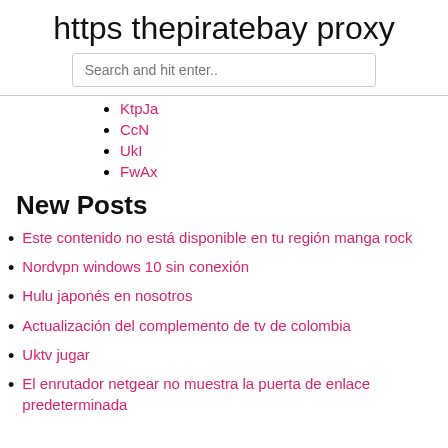https thepiratebay proxy
KtpJa
CcN
UkI
FwAx
New Posts
Este contenido no está disponible en tu región manga rock
Nordvpn windows 10 sin conexión
Hulu japonés en nosotros
Actualización del complemento de tv de colombia
Uktv jugar
El enrutador netgear no muestra la puerta de enlace predeterminada